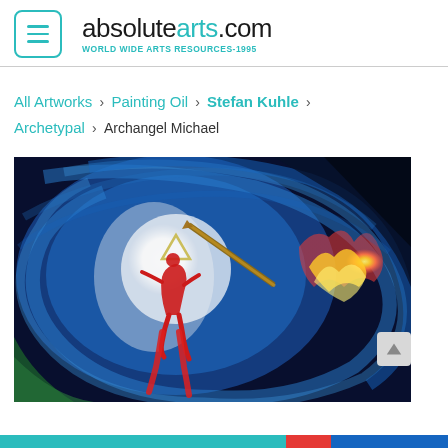absolutearts.com WORLD WIDE ARTS RESOURCES-1995
All Artworks › Painting Oil › Stefan Kuhle › Archetypal › Archangel Michael
[Figure (photo): Oil painting titled 'Archangel Michael' by Stefan Kuhle. A swirling blue vortex with a white glowing center, a red figure of an angel/archangel holding a long spear, a triangular symbol in the center, and yellow-orange flames on the right side.]